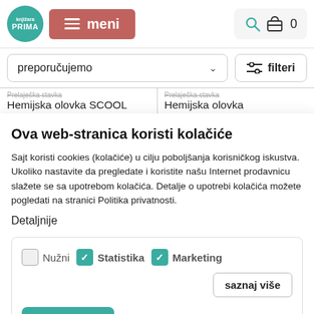knjižara PRIMA | meni | 0
preporučujemo
filteri
Hemijska olovka SCOOL | Hemijska olovka
Ova web-stranica koristi kolačiće
Sajt koristi cookies (kolačiće) u cilju poboljšanja korisničkog iskustva. Ukoliko nastavite da pregledate i koristite našu Internet prodavnicu slažete se sa upotrebom kolačića. Detalje o upotrebi kolačića možete pogledati na stranici Politika privatnosti.
Detaljnije
Nužni  Statistika  Marketing  saznaj više
slažem se